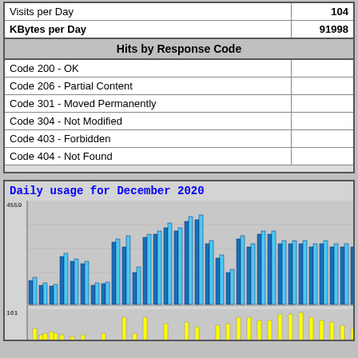|  |  |
| --- | --- |
| Visits per Day | 104 |
| KBytes per Day | 91998 |
| Hits by Response Code |  |
| --- | --- |
| Code 200 - OK |  |
| Code 206 - Partial Content |  |
| Code 301 - Moved Permanently |  |
| Code 304 - Not Modified |  |
| Code 403 - Forbidden |  |
| Code 404 - Not Found |  |
[Figure (bar-chart): Daily usage bar chart for December 2020 with blue bars (hits) and yellow bars (another metric). Y-axis max ~4559 for top chart, ~161 for bottom chart.]